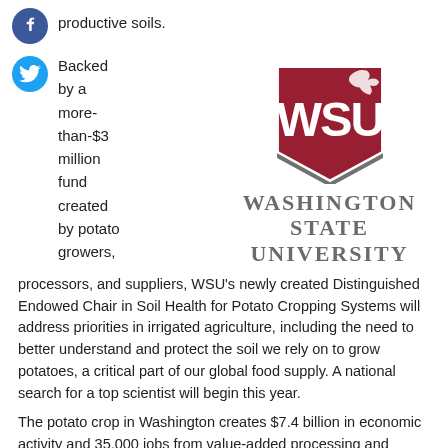productive soils.
Backed by a more-than-$3 million fund created by potato growers,
[Figure (logo): Washington State University shield logo in crimson and gray, with WSU letters on shield, above the text WASHINGTON STATE UNIVERSITY]
processors, and suppliers, WSU's newly created Distinguished Endowed Chair in Soil Health for Potato Cropping Systems will address priorities in irrigated agriculture, including the need to better understand and protect the soil we rely on to grow potatoes, a critical part of our global food supply. A national search for a top scientist will begin this year.
The potato crop in Washington creates $7.4 billion in economic activity and 35,000 jobs from value-added processing and exports, making potatoes one of the state's most important